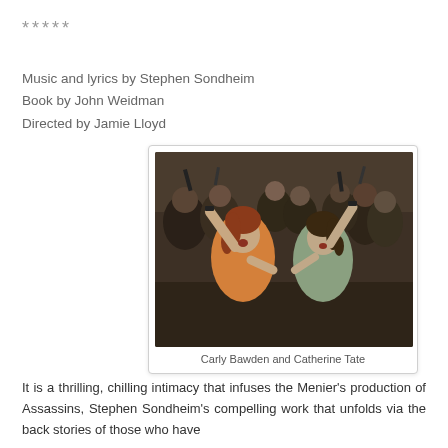*****
Music and lyrics by Stephen Sondheim
Book by John Weidman
Directed by Jamie Lloyd
[Figure (photo): Stage production photo showing two women (Carly Bawden and Catherine Tate) with arms raised among a crowd of performers, in a dramatic theatrical scene from Assassins]
Carly Bawden and Catherine Tate
It is a thrilling, chilling intimacy that infuses the Menier's production of Assassins, Stephen Sondheim's compelling work that unfolds via the back stories of those who have